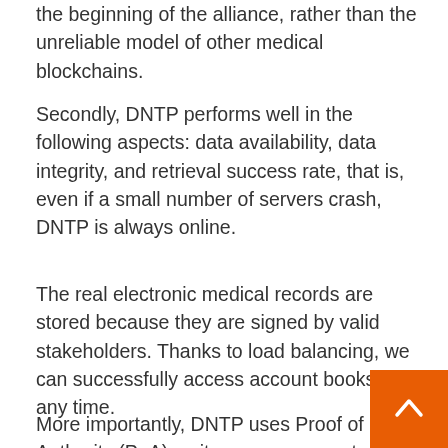the beginning of the alliance, rather than the unreliable model of other medical blockchains.
Secondly, DNTP performs well in the following aspects: data availability, data integrity, and retrieval success rate, that is, even if a small number of servers crash, DNTP is always online.
The real electronic medical records are stored because they are signed by valid stakeholders. Thanks to load balancing, we can successfully access account books at any time.
More importantly, DNTP uses Proof of Authority (PoA) as its consensus protocol. The designated, authenticated and trusted ordering party is responsible for generating valid blocks, that is, as long as these blocks are signed by one of the ordering parties, they will be accepted by all participants. PoA is different